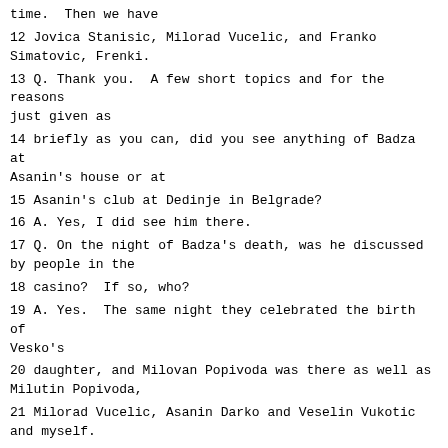time. Then we have
12 Jovica Stanisic, Milorad Vucelic, and Franko Simatovic, Frenki.
13 Q. Thank you. A few short topics and for the reasons just given as
14 briefly as you can, did you see anything of Badza at Asanin's house or at
15 Asanin's club at Dedinje in Belgrade?
16 A. Yes, I did see him there.
17 Q. On the night of Badza's death, was he discussed by people in the
18 casino? If so, who?
19 A. Yes. The same night they celebrated the birth of Vesko's
20 daughter, and Milovan Popivoda was there as well as Milutin Popivoda,
21 Milorad Vucelic, Asanin Darko and Veselin Vukotic and myself.
22 Q. What did they say about Badza who died?
23 A. They just said he'd died but they didn't comment